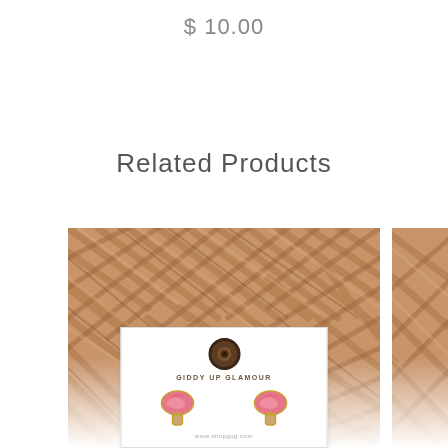$ 10.00
Related Products
[Figure (photo): Product photo showing mushroom stud earrings on a Giddy Up Glamour branded jewelry card, placed against a woven wicker/basket background. The earrings are pink and gold mushroom-shaped studs.]
[Figure (photo): Partial view of a second product photo showing the same woven wicker background, partially cropped at the right edge.]